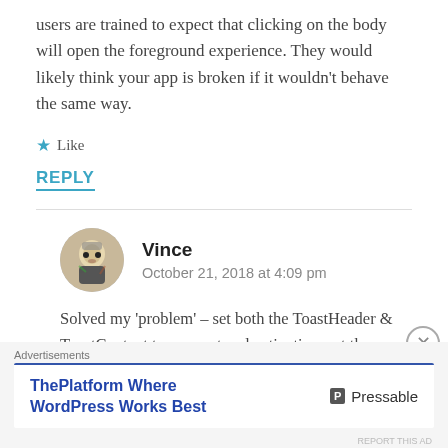users are trained to expect that clicking on the body will open the foreground experience. They would likely think your app is broken if it wouldn't behave the same way.
★ Like
REPLY
Vince
October 21, 2018 at 4:09 pm
Solved my 'problem' – set both the ToastHeader & ToastContent to use protocol activation, set the
Advertisements
ThePlatform Where WordPress Works Best   Pressable